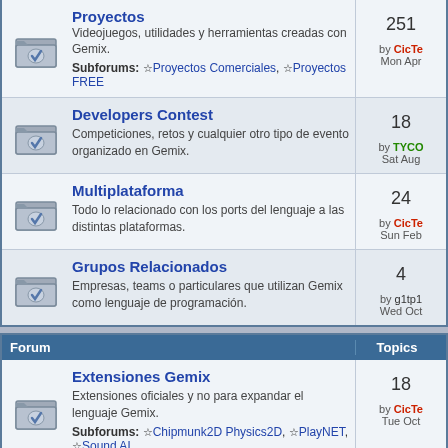| Forum | Topics |
| --- | --- |
| Proyectos (partial) | 251 |
| Developers Contest | 18 |
| Multiplataforma | 24 |
| Grupos Relacionados | 4 |
| Forum | Topics |
| --- | --- |
| Extensiones Gemix | 18 |
| Extensiones Externas | 22 |